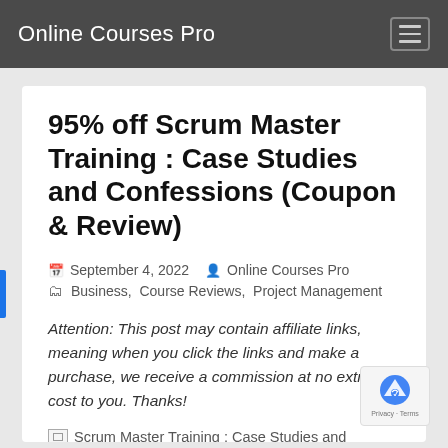Online Courses Pro
95% off Scrum Master Training : Case Studies and Confessions (Coupon & Review)
September 4, 2022   Online Courses Pro   Business, Course Reviews, Project Management
Attention: This post may contain affiliate links, meaning when you click the links and make a purchase, we receive a commission at no extra cost to you. Thanks!
Scrum Master Training : Case Studies and